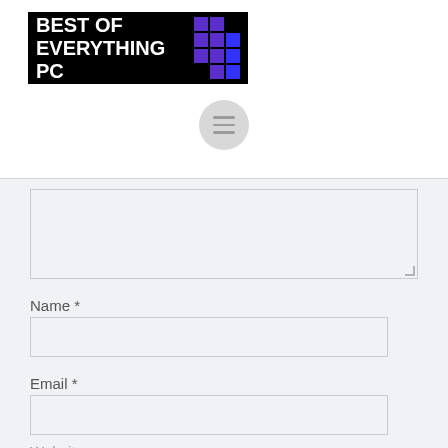[Figure (logo): Best of Everything PC logo — black background with white bold text and a purple/blue pixel grid pattern on the right side]
[Figure (other): Hamburger menu icon — three horizontal lines inside a light grey circle]
Name *
Email *
Website